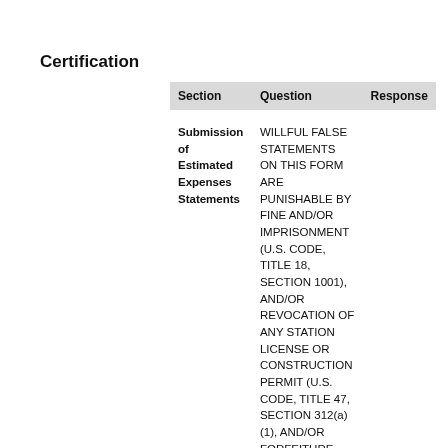Certification
| Section | Question | Response |
| --- | --- | --- |
| Submission of Estimated Expenses Statements | WILLFUL FALSE STATEMENTS ON THIS FORM ARE PUNISHABLE BY FINE AND/OR IMPRISONMENT (U.S. CODE, TITLE 18, SECTION 1001), AND/OR REVOCATION OF ANY STATION LICENSE OR CONSTRUCTION PERMIT (U.S. CODE, TITLE 47, SECTION 312(a)(1), AND/OR FORFEITURE (U.S. CODE, TITLE 47, SECTION 503), AND ANY FALSE |  |